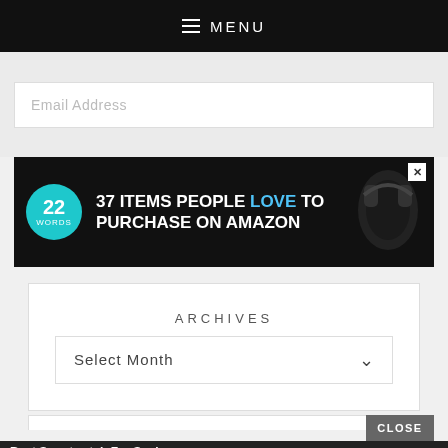MENU
Email Address
[Figure (screenshot): Advertisement banner: '37 ITEMS PEOPLE LOVE TO PURCHASE ON AMAZON' with 22 Words logo circle and headphones image]
ARCHIVES
Select Month
[Figure (screenshot): Bottom advertisement overlay with CLOSE button and 'Best Smartwatch For Seniors - Fitnus.com - SPONSORED' ad]